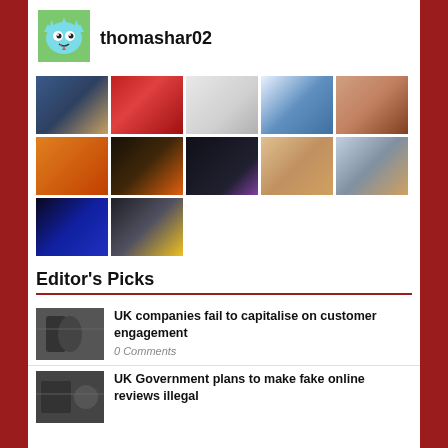[Figure (illustration): Cartoon monster avatar icon in teal/blue color on green background]
thomashar02
[Figure (photo): 3x2 grid plus 2 extra: concert crowd, red theater seats, covid mask sketch, CRM notebook, Christmas cookies, pumpkins, halloween pumpkins with face, dark room with light box, retro car photo, couple selfie at beach, Disney+ streaming, train station]
Editor's Picks
[Figure (photo): Black and white photo of person crouching]
UK companies fail to capitalise on customer engagement
0 Comments
[Figure (photo): Black and white photo for fake online reviews article]
UK Government plans to make fake online reviews illegal